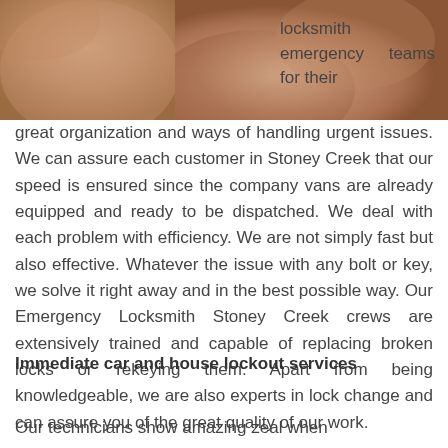[Figure (photo): Close-up photo of a person's neck/shoulder skin, warm brown tones, cropped at top of page]
locksmith emergency teams for their great organization and ways of handling urgent issues. We can assure each customer in Stoney Creek that our speed is ensured since the company vans are already equipped and ready to be dispatched. We deal with each problem with efficiency. We are not simply fast but also effective. Whatever the issue with any bolt or key, we solve it right away and in the best possible way. Our Emergency Locksmith Stoney Creek crews are extensively trained and capable of replacing broken locks or rekeying them. Apart from being knowledgeable, we are also experts in lock change and can assure you of the great quality of our work.
Immediate car and house lockout services
Our technicians show amazing zeal when